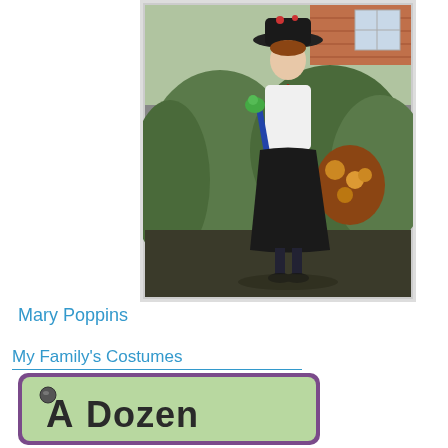[Figure (photo): A child dressed in a Mary Poppins costume — black hat, white blouse with red bow tie, black skirt, holding a green parrot-handled umbrella and carrying a floral bag, standing outside in front of a brick building and bushes.]
Mary Poppins
My Family's Costumes
[Figure (illustration): A green-background illustrated logo/title reading 'A Dozen' in a whimsical cartoon font with animal characters incorporated into the letters, with a purple border.]